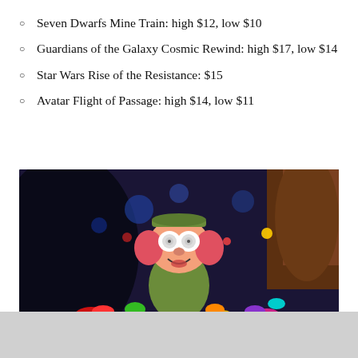Seven Dwarfs Mine Train: high $12, low $10
Guardians of the Galaxy Cosmic Rewind: high $17, low $14
Star Wars Rise of the Resistance: $15
Avatar Flight of Passage: high $14, low $11
[Figure (photo): Photo of a Dopey dwarf animatronic figure surrounded by colorful gems/jewels inside the Seven Dwarfs Mine Train ride, dark cave-like environment with colorful lights in the background.]